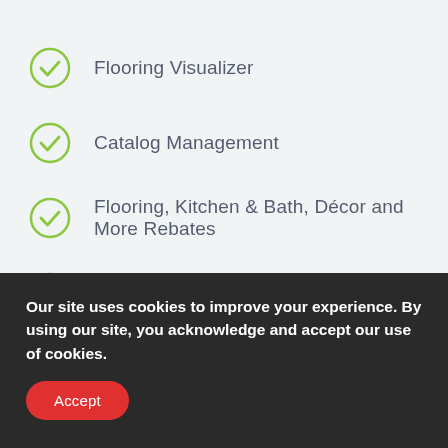Flooring Visualizer
Catalog Management
Flooring, Kitchen & Bath, Décor and More Rebates
National promotions: merchandising and marketing
Our site uses cookies to improve your experience. By using our site, you acknowledge and accept our use of cookies.
Accept